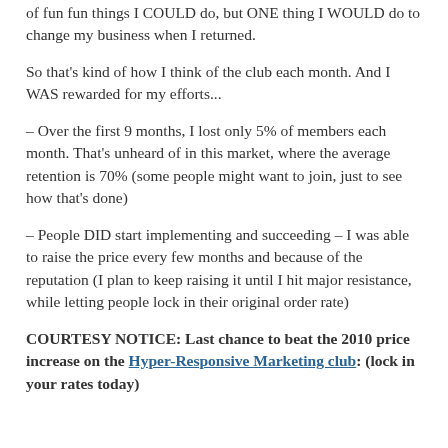of fun fun things I COULD do, but ONE thing I WOULD do to change my business when I returned.
So that's kind of how I think of the club each month. And I WAS rewarded for my efforts...
– Over the first 9 months, I lost only 5% of members each month. That's unheard of in this market, where the average retention is 70% (some people might want to join, just to see how that's done)
– People DID start implementing and succeeding – I was able to raise the price every few months and because of the reputation (I plan to keep raising it until I hit major resistance, while letting people lock in their original order rate)
COURTESY NOTICE: Last chance to beat the 2010 price increase on the Hyper-Responsive Marketing club: (lock in your rates today)